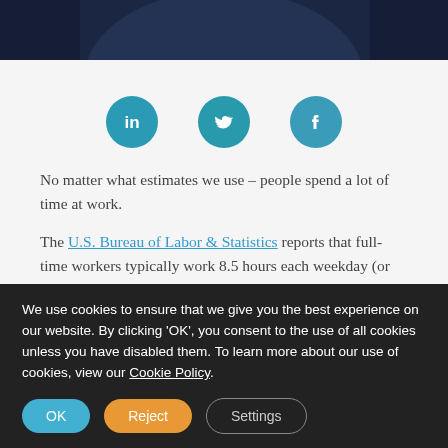[Figure (photo): Partial photo of a person in dark clothing, cropped at the top of the page]
[Figure (infographic): Three social sharing icons in teal/blue circles: LinkedIn, Twitter, Facebook]
No matter what estimates we use – people spend a lot of time at work.
The U.S. Bureau of Labor & Statistics reports that full-time workers typically work 8.5 hours each weekday (or about 42.5 hours per week).
EuroStat estimated that EU workers average 40.3
We use cookies to ensure that we give you the best experience on our website. By clicking 'OK', you consent to the use of all cookies unless you have disabled them. To learn more about our use of cookies, view our Cookie Policy.